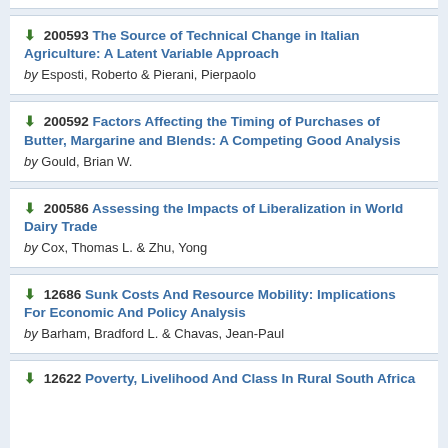200593 The Source of Technical Change in Italian Agriculture: A Latent Variable Approach by Esposti, Roberto & Pierani, Pierpaolo
200592 Factors Affecting the Timing of Purchases of Butter, Margarine and Blends: A Competing Good Analysis by Gould, Brian W.
200586 Assessing the Impacts of Liberalization in World Dairy Trade by Cox, Thomas L. & Zhu, Yong
12686 Sunk Costs And Resource Mobility: Implications For Economic And Policy Analysis by Barham, Bradford L. & Chavas, Jean-Paul
12622 Poverty, Livelihood And Class In Rural South Africa